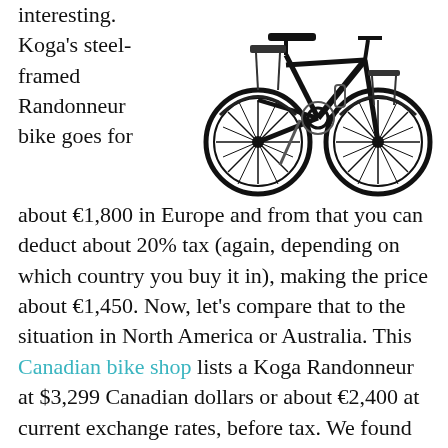[Figure (photo): Black Koga Randonneur touring bicycle with front and rear racks, photographed from the side against a white background.]
interesting. Koga's steel-framed Randonneur bike goes for about €1,800 in Europe and from that you can deduct about 20% tax (again, depending on which country you buy it in), making the price about €1,450. Now, let's compare that to the situation in North America or Australia. This Canadian bike shop lists a Koga Randonneur at $3,299 Canadian dollars or about €2,400 at current exchange rates, before tax. We found similar prices online from Australian retailers. So, just by flying to Europe to buy your Koga, you've saved a cool €1,000 – easily enough to cover your flight with change left…